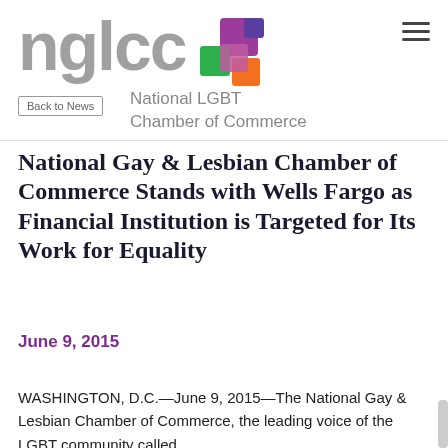[Figure (logo): NGLCC logo with colorful squares icon and text 'National LGBT Chamber of Commerce']
National Gay & Lesbian Chamber of Commerce Stands with Wells Fargo as Financial Institution is Targeted for Its Work for Equality
June 9, 2015
WASHINGTON, D.C.—June 9, 2015—The National Gay & Lesbian Chamber of Commerce, the leading voice of the LGBT community called...